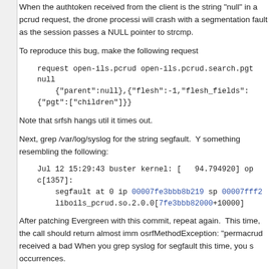When the authtoken received from the client is the string "null" in a pcrud request, the drone processi will crash with a segmentation fault as the session passes a NULL pointer to strcmp.
To reproduce this bug, make the following request
request open-ils.pcrud open-ils.pcrud.search.pgt null {"parent":null},{"flesh":-1,"flesh_fields": {"pgt":["children"]}}
Note that srfsh hangs util it times out.
Next, grep /var/log/syslog for the string segfault. Y something resembling the following:
Jul 12 15:29:43 buster kernel: [ 94.794920] op c[1357]: segfault at 0 ip 00007fe3bbb8b219 sp 00007fff2 liboils_pcrud.so.2.0.0[7fe3bbb82000+10000]
After patching Evergreen with this commit, repeat again. This time, the call should return almost imm osrfMethodException: "permacrud received a bad When you grep syslog for segfault this time, you s occurrences.
Signed-off-by: Mike Rylander <mrylander@gmail.com>